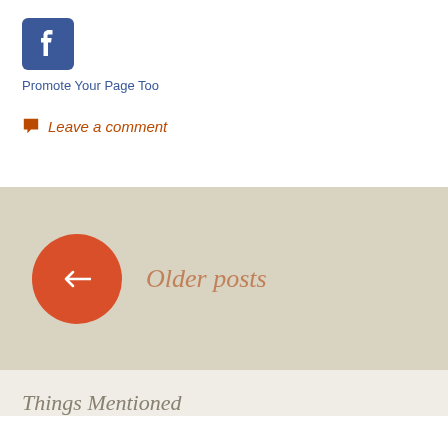[Figure (logo): Facebook logo square blue icon with white 'f']
Promote Your Page Too
Leave a comment
Older posts
Things Mentioned